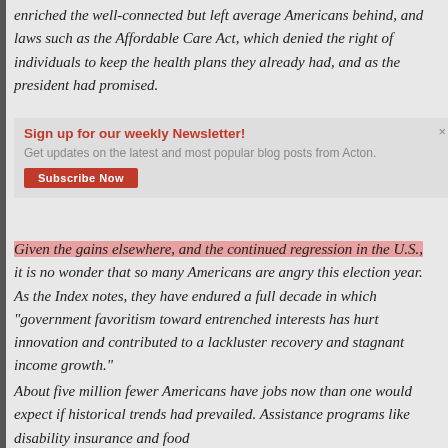enriched the well-connected but left average Americans behind, and laws such as the Affordable Care Act, which denied the right of individuals to keep the health plans they already had, and as the president had promised.
Sign up for our weekly Newsletter! Get updates on the latest and most popular blog posts from Acton.
Given the gains elsewhere, and the continued regression in the U.S., it is no wonder that so many Americans are angry this election year. As the Index notes, they have endured a full decade in which “government favoritism toward entrenched interests has hurt innovation and contributed to a lackluster recovery and stagnant income growth.”
About five million fewer Americans have jobs now than one would expect if historical trends had prevailed. Assistance programs like disability insurance and food